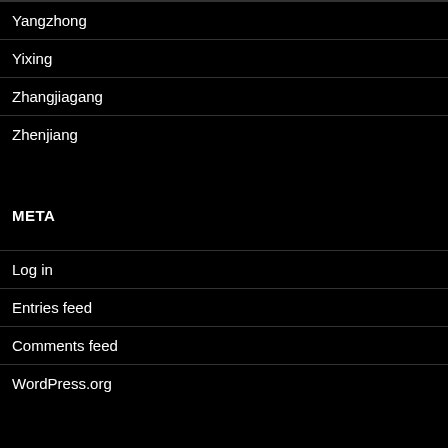Yangzhong
Yixing
Zhangjiagang
Zhenjiang
META
Log in
Entries feed
Comments feed
WordPress.org